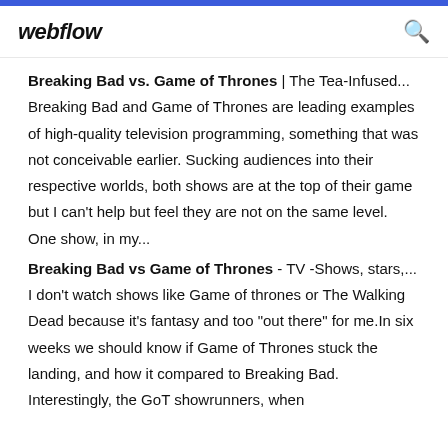webflow
Breaking Bad vs. Game of Thrones | The Tea-Infused... Breaking Bad and Game of Thrones are leading examples of high-quality television programming, something that was not conceivable earlier. Sucking audiences into their respective worlds, both shows are at the top of their game but I can't help but feel they are not on the same level. One show, in my...
Breaking Bad vs Game of Thrones - TV -Shows, stars,... I don't watch shows like Game of thrones or The Walking Dead because it's fantasy and too "out there" for me.In six weeks we should know if Game of Thrones stuck the landing, and how it compared to Breaking Bad. Interestingly, the GoT showrunners, when